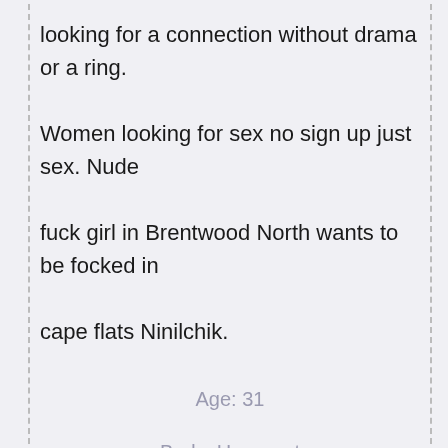looking for a connection without drama or a ring. Women looking for sex no sign up just sex. Nude fuck girl in Brentwood North wants to be focked in cape flats Ninilchik.
Age: 31
Body: Heavyset
Marital Status: No Strings Attached
Hair Color: Brown